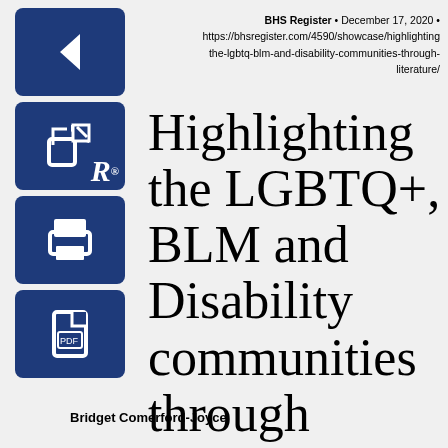BHS Register • December 17, 2020 • https://bhsregister.com/4590/showcase/highlighting-the-lgbtq-blm-and-disability-communities-through-literature/
Highlighting the LGBTQ+, BLM and Disability communities through literature
Bridget Comerford-Joyce